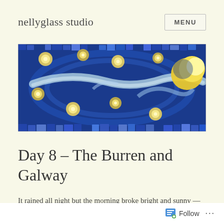nellyglass studio
[Figure (illustration): A mosaic artwork resembling Van Gogh's Starry Night, rendered in blue, gold, and white tile pieces with swirling patterns and circular star/moon shapes against a deep blue background.]
Day 8 – The Burren and Galway
It rained all night but the morning broke bright and sunny — for a while at least. We had a hearty
Follow ...